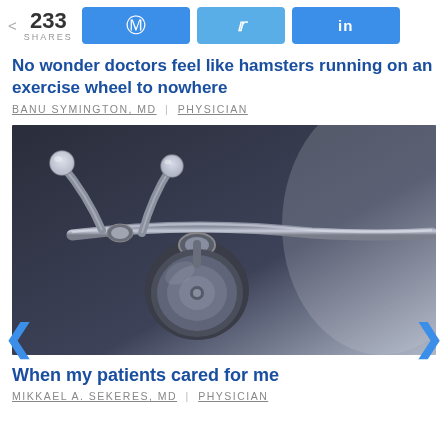233 SHARES | Facebook share | Twitter share | LinkedIn share
No wonder doctors feel like hamsters running on an exercise wheel to nowhere
BANU SYMINGTON, MD | PHYSICIAN
[Figure (photo): Close-up photo of a stethoscope on a dark surface with blue-grey tones]
When my patients cared for me
MIKKAEL A. SEKERES, MD | PHYSICIAN